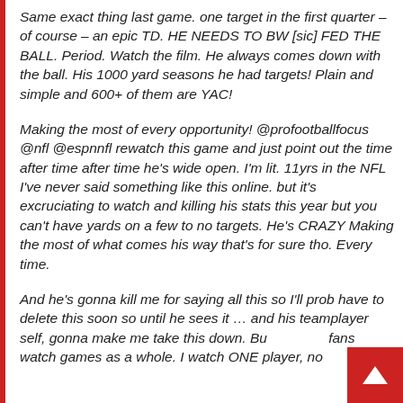Same exact thing last game. one target in the first quarter – of course – an epic TD. HE NEEDS TO BW [sic] FED THE BALL. Period. Watch the film. He always comes down with the ball. His 1000 yard seasons he had targets! Plain and simple and 600+ of them are YAC!
Making the most of every opportunity! @profootballfocus @nfl @espnnfl rewatch this game and just point out the time after time after time he's wide open. I'm lit. 11yrs in the NFL I've never said something like this online. but it's excruciating to watch and killing his stats this year but you can't have yards on a few to no targets. He's CRAZY Making the most of what comes his way that's for sure tho. Every time.
And he's gonna kill me for saying all this so I'll prob have to delete this soon so until he sees it … and his teamplayer self, gonna make me take this down. But fans watch games as a whole. I watch ONE player, no